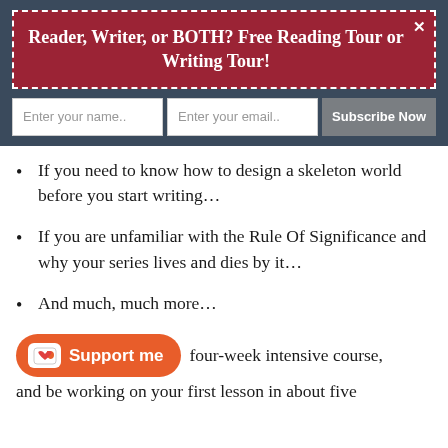Reader, Writer, or BOTH? Free Reading Tour or Writing Tour!
[Figure (other): Email subscription form with name field, email field, and Subscribe Now button on dark navy background]
If you need to know how to design a skeleton world before you start writing…
If you are unfamiliar with the Rule Of Significance and why your series lives and dies by it…
And much, much more…
four-week intensive course, and be working on your first lesson in about five